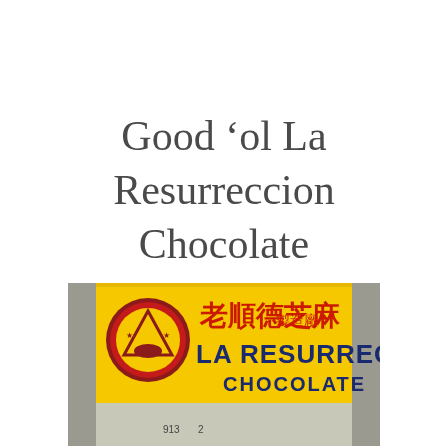Good ‘ol La Resurreccion Chocolate
[Figure (photo): Photo of a yellow storefront sign reading 'LA RESURRECCION CHOCOLATE' in dark blue text, with Chinese characters above in red, and a circular logo with a triangle on the left side.]